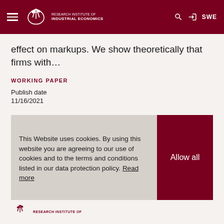Research Institute of Industrial Economics
effect on markups. We show theoretically that firms with…
WORKING PAPER
Publish date
11/16/2021
This Website uses cookies. By using this website you are agreeing to our use of cookies and to the terms and conditions listed in our data protection policy. Read more
Allow all
[Figure (logo): Research Institute of Industrial Economics logo at footer]